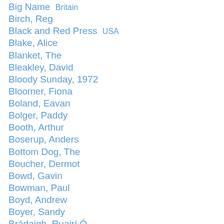Big Name  Britain
Birch, Reg
Black and Red Press  USA
Blake, Alice
Blanket, The
Bleakley, David
Bloody Sunday, 1972
Bloomer, Fiona
Boland, Eavan
Bolger, Paddy
Booth, Arthur
Boserup, Anders
Bottom Dog, The
Boucher, Dermot
Bowd, Gavin
Bowman, Paul
Boyd, Andrew
Boyer, Sandy
Brádaigh, Ruairí Ó
Brádaigh, Ruairí Óg Ó
Brádaigh, Seán Ó
Brady, Joan
Brady, Ronan